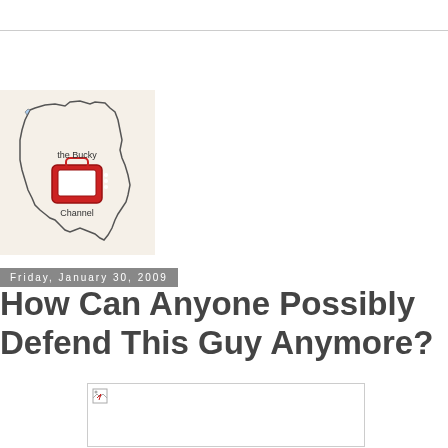[Figure (logo): The Bucky Channel logo — outline of Wisconsin state with a red TV/suitcase icon in the center, text reads 'the Bucky Channel']
Friday, January 30, 2009
How Can Anyone Possibly Defend This Guy Anymore?
[Figure (photo): A broken/missing image placeholder with small broken image icon in top-left corner]